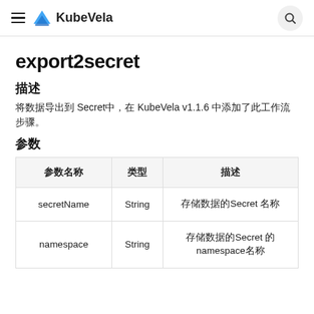KubeVela
export2secret
描述
将数据导出到 Secret中，在 KubeVela v1.1.6 中添加了此工作流步骤。
参数
| 参数名称 | 类型 | 描述 |
| --- | --- | --- |
| secretName | String | 存储数据的Secret 名称 |
| namespace | String | 存储数据的Secret 的
namespace名称 |